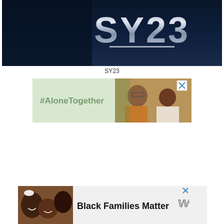[Figure (screenshot): Dark blue/black background with large stylized text 'SY23' in metallic/3D lettering]
SY23
[Figure (photo): Advertisement banner with light green background showing '#AloneTogether' text on left side and a photo of a man and child waving/smiling on right side, with an X close button in top right corner]
[Figure (photo): Advertisement banner showing a photo of a smiling family (multiple people lying down) on the left, bold text 'Black Families Matter' in the center, and a logo on the right, with an X close button]